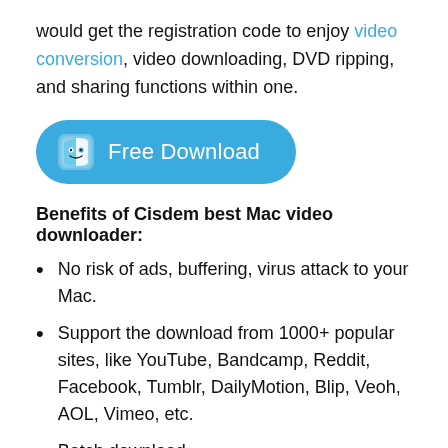would get the registration code to enjoy video conversion, video downloading, DVD ripping, and sharing functions within one.
[Figure (other): Blue rounded rectangle button with Mac Finder icon and text 'Free Download']
Benefits of Cisdem best Mac video downloader:
No risk of ads, buffering, virus attack to your Mac.
Support the download from 1000+ popular sites, like YouTube, Bandcamp, Reddit, Facebook, Tumblr, DailyMotion, Blip, Veoh, AOL, Vimeo, etc.
Batch download.